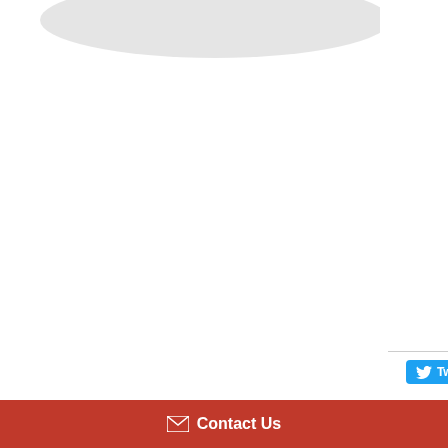[Figure (photo): Partial view of a ceramic dish or plate, shown as an oval/ellipse shape at the top left, cropped at the top edge of the page.]
UK & Internat...
It is well known countless visi... Rossetto, crea... for all the pass... Padova in Text... Arts in Venice ... professional a... ceramics; they... continual ques... Recently, her v... “Venice and its... sponsored by ... of ceramics in ... innovating and... piece is unique... games and su... playful sunshir... Venice.
Tweet
Contact Us